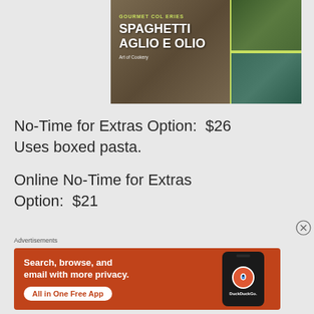[Figure (photo): Food collage image showing spaghetti aglio e olio dish with text overlay 'GOURMET COLLECTION SERIES' and 'SPAGHETTI AGLIO E OLIO' and 'Art of Cookery', with side panels showing shrimp and broccoli dishes]
No-Time for Extras Option:  $26
Uses boxed pasta.
Online No-Time for Extras Option:  $21
Advertisements
[Figure (screenshot): DuckDuckGo advertisement banner with orange/red background. Text: 'Search, browse, and email with more privacy. All in One Free App' with DuckDuckGo logo and phone mockup]